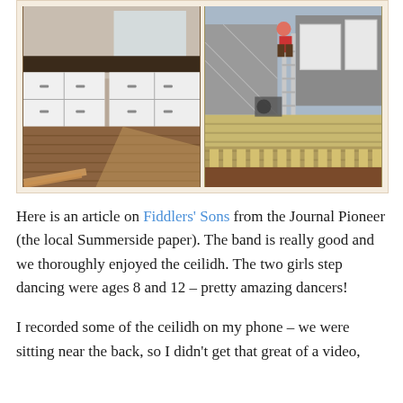[Figure (photo): Two side-by-side photos: left shows a kitchen interior with white cabinets and hardwood floor; right shows a person on a ladder doing exterior construction work on a deck.]
Here is an article on Fiddlers' Sons from the Journal Pioneer (the local Summerside paper). The band is really good and we thoroughly enjoyed the ceilidh. The two girls step dancing were ages 8 and 12 – pretty amazing dancers!
I recorded some of the ceilidh on my phone – we were sitting near the back, so I didn't get that great of a video,